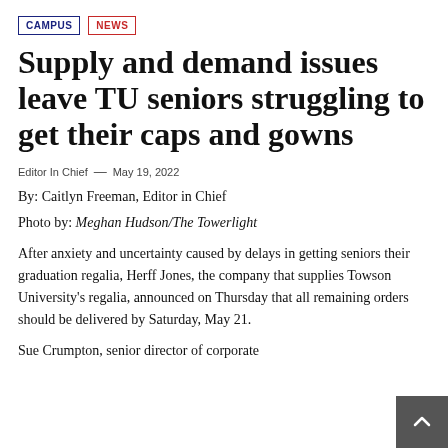CAMPUS | NEWS
Supply and demand issues leave TU seniors struggling to get their caps and gowns
Editor In Chief — May 19, 2022
By: Caitlyn Freeman, Editor in Chief
Photo by: Meghan Hudson/The Towerlight
After anxiety and uncertainty caused by delays in getting seniors their graduation regalia, Herff Jones, the company that supplies Towson University's regalia, announced on Thursday that all remaining orders should be delivered by Saturday, May 21.
Sue Crumpton, senior director of corporate